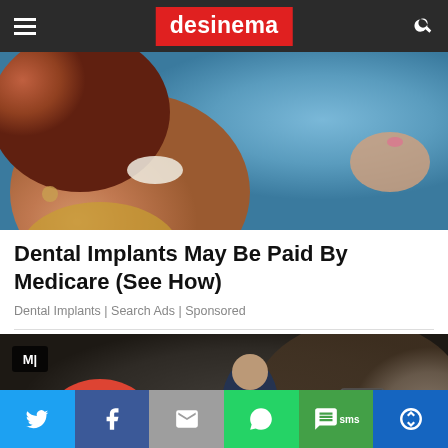desinema
[Figure (photo): Close-up photo of a woman smiling showing white teeth, with red hair and earring, wearing a yellow top, holding or touching a blue surface]
Dental Implants May Be Paid By Medicare (See How)
Dental Implants | Search Ads | Sponsored
[Figure (photo): Scene from an Indian web series showing a woman in red dress bending forward, a man in dark clothes standing in background, and another person holding a camera on the right side. MX Player logo visible top left.]
Twitter | Facebook | Email | WhatsApp | SMS | More